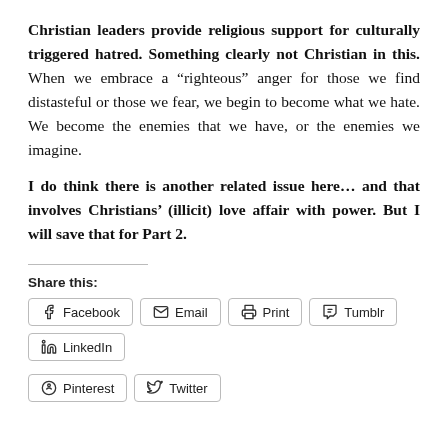Christian leaders provide religious support for culturally triggered hatred. Something clearly not Christian in this. When we embrace a “righteous” anger for those we find distasteful or those we fear, we begin to become what we hate. We become the enemies that we have, or the enemies we imagine.
I do think there is another related issue here… and that involves Christians’ (illicit) love affair with power. But I will save that for Part 2.
Share this:
Facebook
Email
Print
Tumblr
LinkedIn
Pinterest
Twitter